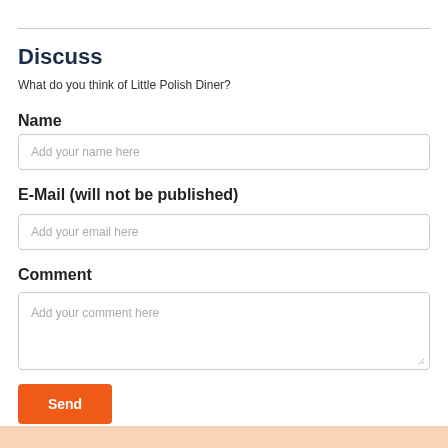Discuss
What do you think of Little Polish Diner?
Name
Add your name here
E-Mail (will not be published)
Add your email here
Comment
Add your comment here
Send